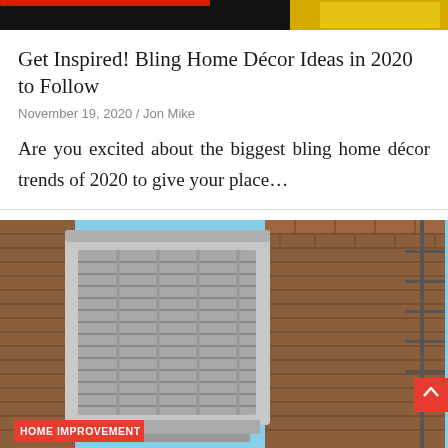[Figure (photo): Partial top banner image with dark background and gold/yellow element in upper right corner]
Get Inspired! Bling Home Décor Ideas in 2020 to Follow
November 19, 2020 / Jon Mike
Are you excited about the biggest bling home décor trends of 2020 to give your place…
[Figure (photo): An air conditioning or HVAC unit mounted on a brick wall exterior, with a fire escape visible in the background. A red HOME IMPROVEMENT category tag overlays the bottom left of the image.]